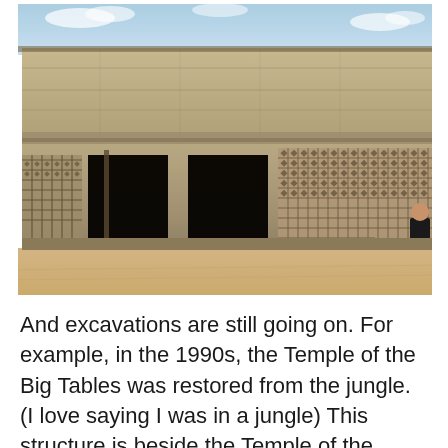[Figure (photo): Photograph of an ancient Mayan stone building (Temple of the Big Tables at Chichen Itza) with decorative lattice stonework on the right, dark rectangular doorways/windows, aged limestone walls, and a sandy foreground. A person in dark clothing stands at the far right near the wall. Blue sky with faint clouds visible at the top.]
And excavations are still going on. For example, in the 1990s, the Temple of the Big Tables was restored from the jungle. (I love saying I was in a jungle) This structure is beside the Temple of the Warriors and it has a substructure inside which can be reached by the door on